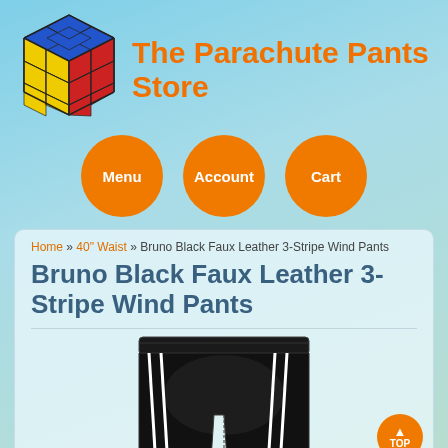[Figure (logo): Rubik's cube logo for The Parachute Pants Store]
The Parachute Pants Store
[Figure (other): Navigation buttons: Menu, Account, Cart — orange circular buttons]
Home » 40" Waist » Bruno Black Faux Leather 3-Stripe Wind Pants
Bruno Black Faux Leather 3-Stripe Wind Pants
[Figure (photo): Product photo of black faux leather wind pants/shorts with white 3-stripe detail on the side]